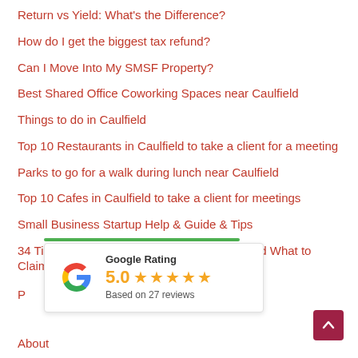Return vs Yield: What's the Difference?
How do I get the biggest tax refund?
Can I Move Into My SMSF Property?
Best Shared Office Coworking Spaces near Caulfield
Things to do in Caulfield
Top 10 Restaurants in Caulfield to take a client for a meeting
Parks to go for a walk during lunch near Caulfield
Top 10 Cafes in Caulfield to take a client for meetings
Small Business Startup Help & Guide & Tips
34 Tips on Small Business Tax Deductions and What to Claim
[Figure (other): Google Rating widget showing 5.0 stars based on 27 reviews, with Google G logo and green bar on top]
P
About